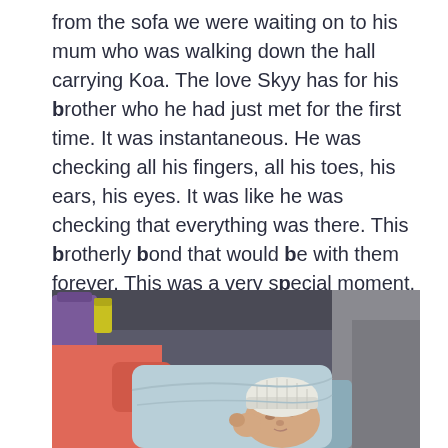from the sofa we were waiting on to his mum who was walking down the hall carrying Koa. The love Skyy has for his brother who he had just met for the first time. It was instantaneous. He was checking all his fingers, all his toes, his ears, his eyes. It was like he was checking that everything was there. This brotherly bond that would be with them forever. This was a very special moment. It was a privilege and so beautiful to stand back and witness.
[Figure (photo): A newborn baby wrapped in a light blue blanket wearing a white knit hat, lying on someone's lap. A person in a pink top is visible in the background, along with a yellow bag and other items.]